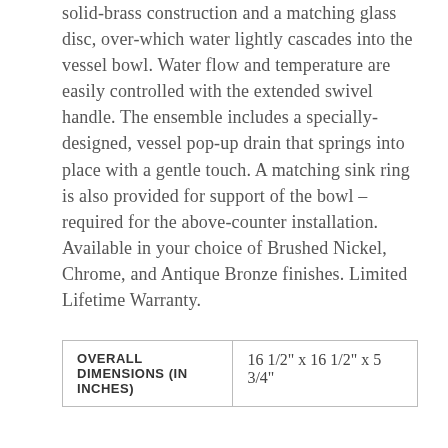solid-brass construction and a matching glass disc, over-which water lightly cascades into the vessel bowl. Water flow and temperature are easily controlled with the extended swivel handle. The ensemble includes a specially-designed, vessel pop-up drain that springs into place with a gentle touch. A matching sink ring is also provided for support of the bowl – required for the above-counter installation. Available in your choice of Brushed Nickel, Chrome, and Antique Bronze finishes. Limited Lifetime Warranty.
| OVERALL DIMENSIONS (IN INCHES) |  |
| --- | --- |
| OVERALL DIMENSIONS (IN INCHES) | 16 1/2" x 16 1/2" x 5 3/4" |